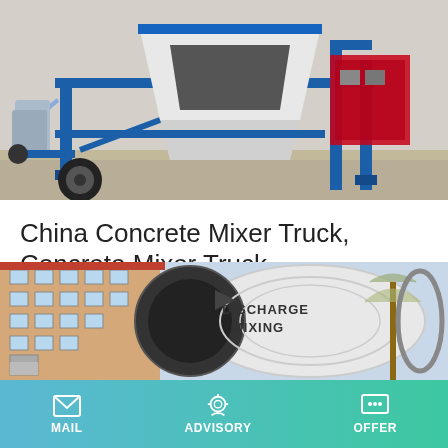[Figure (photo): Concrete mixer truck / mobile concrete mixing plant on wheels, blue frame with white hopper, outdoors on gravel]
China Concrete Mixer Truck, Concrete Mixer Truck
China Concrete Mixer Truck manufacturers - Select 2021 high quality Concrete Mixer Truck products in best price from certified Chinese Truck, Mixing Machine suppliers, wholesalers and factory on …
Learn More
[Figure (photo): Concrete mixer drum close-up showing discharge port, white drum with DISCHARGE MIXING text, building in background]
MAIL   ADVISORY   OFFER